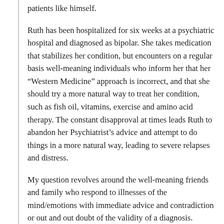patients like himself.
Ruth has been hospitalized for six weeks at a psychiatric hospital and diagnosed as bipolar. She takes medication that stabilizes her condition, but encounters on a regular basis well-meaning individuals who inform her that her “Western Medicine” approach is incorrect, and that she should try a more natural way to treat her condition, such as fish oil, vitamins, exercise and amino acid therapy. The constant disapproval at times leads Ruth to abandon her Psychiatrist’s advice and attempt to do things in a more natural way, leading to severe relapses and distress.
My question revolves around the well-meaning friends and family who respond to illnesses of the mind/emotions with immediate advice and contradiction or out and out doubt of the validity of a diagnosis. Surely this is improper etiquette, is it not?   0723-11
My first thought is typically to frame the issue in regards to how an individual can best mitigate other people’s faux pas committed against